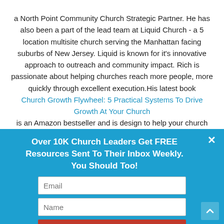a North Point Community Church Strategic Partner. He has also been a part of the lead team at Liquid Church - a 5 location multisite church serving the Manhattan facing suburbs of New Jersey. Liquid is known for it's innovative approach to outreach and community impact. Rich is passionate about helping churches reach more people, more quickly through excellent execution.His latest book Church Growth Flywheel: 5 Practical Systems To Drive Growth At Your Church is an Amazon bestseller and is design to help your church
[Figure (screenshot): A popup overlay with a blue background containing a headline 'Over 10K Church Leaders Get FREE Resources Sent To Their Inbox Weekly. You Should Too!', an email input field, a name input field, and a red 'SIGN ME UP' button. There is a close (×) button in the top right.]